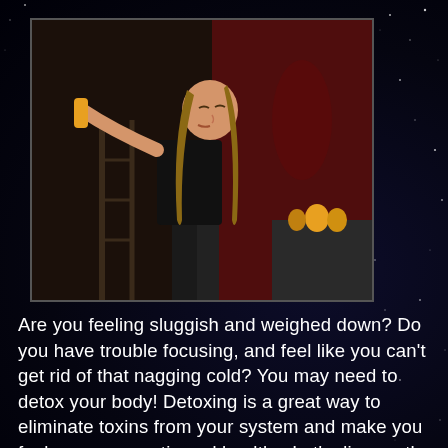[Figure (photo): A fit woman in a black sports bra with long straight hair drinking an orange juice/smoothie from a bottle. She is in a kitchen setting with a red wall in the background. The image has a dark, slightly dim overall tone.]
Are you feeling sluggish and weighed down? Do you have trouble focusing, and feel like you can't get rid of that nagging cold? You may need to detox your body! Detoxing is a great way to eliminate toxins from your system and make you feel more energetic and healthy. Let's discuss the benefits of detoxing and give you a step-by-step